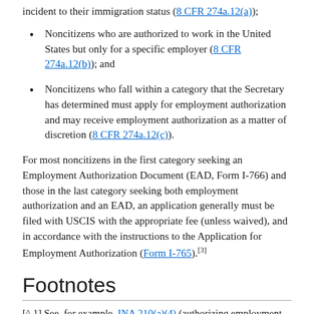incident to their immigration status (8 CFR 274a.12(a));
Noncitizens who are authorized to work in the United States but only for a specific employer (8 CFR 274a.12(b)); and
Noncitizens who fall within a category that the Secretary has determined must apply for employment authorization and may receive employment authorization as a matter of discretion (8 CFR 274a.12(c)).
For most noncitizens in the first category seeking an Employment Authorization Document (EAD, Form I-766) and those in the last category seeking both employment authorization and an EAD, an application generally must be filed with USCIS with the appropriate fee (unless waived), and in accordance with the instructions to the Application for Employment Authorization (Form I-765).[3]
Footnotes
[^ 1] See, for example, INA 210(a)(4) (authorizing employment